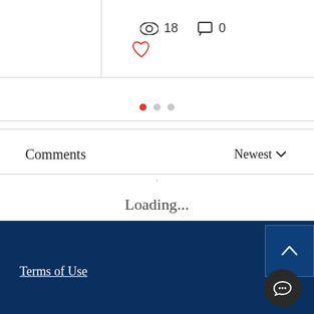18  0
[Figure (other): Pagination dots: one red filled dot and two gray dots]
Comments
Newest ∨
Loading...
Terms of Use